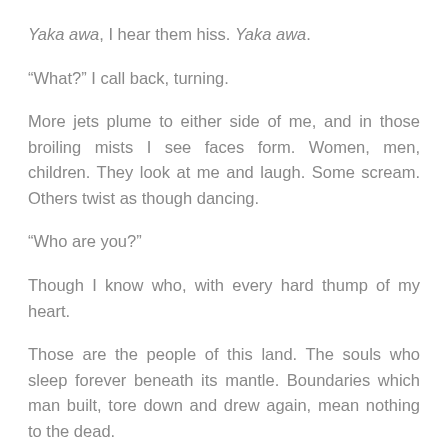Yaka awa, I hear them hiss. Yaka awa.
“What?” I call back, turning.
More jets plume to either side of me, and in those broiling mists I see faces form. Women, men, children. They look at me and laugh. Some scream. Others twist as though dancing.
“Who are you?”
Though I know who, with every hard thump of my heart.
Those are the people of this land. The souls who sleep forever beneath its mantle. Boundaries which man built, tore down and drew again, mean nothing to the dead.